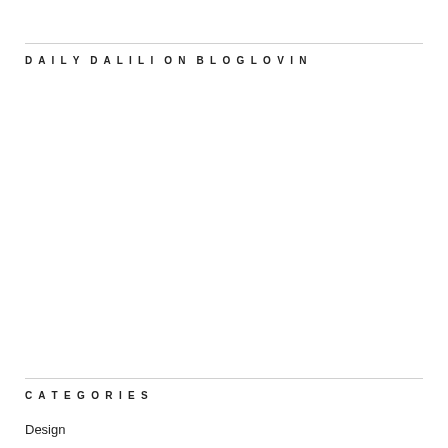DAILY DALILI ON BLOGLOVIN
CATEGORIES
Design